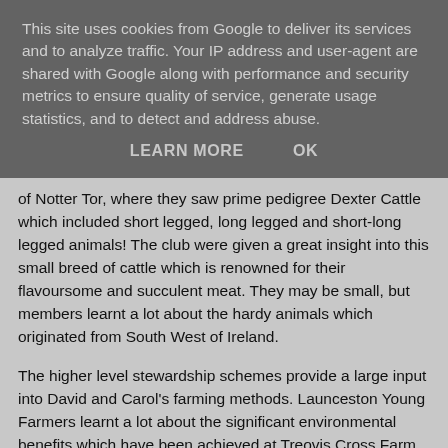This site uses cookies from Google to deliver its services and to analyze traffic. Your IP address and user-agent are shared with Google along with performance and security metrics to ensure quality of service, generate usage statistics, and to detect and address abuse.
LEARN MORE    OK
of Notter Tor, where they saw prime pedigree Dexter Cattle which included short legged, long legged and short-long legged animals! The club were given a great insight into this small breed of cattle which is renowned for their flavoursome and succulent meat. They may be small, but members learnt a lot about the hardy animals which originated from South West of Ireland.
The higher level stewardship schemes provide a large input into David and Carol's farming methods. Launceston Young Farmers learnt a lot about the significant environmental benefits which have been achieved at Treovis Cross Farm, this included looking at the hedge laying and fencing methods.